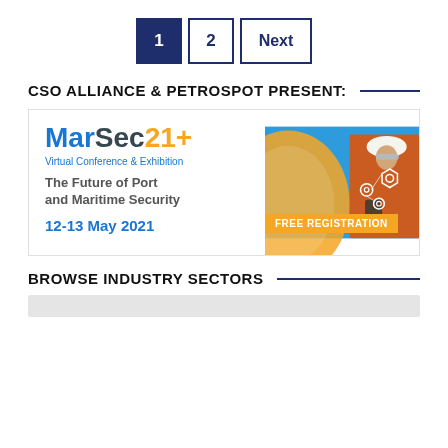[Figure (infographic): Pagination controls: button '1' (active, dark blue fill), button '2' (outline), button 'Next' (outline)]
CSO ALLIANCE & PETROSPOT PRESENT:
[Figure (infographic): MarSec21+ Virtual Conference & Exhibition advertisement. Logo: MarSec21+ in blue/grey/orange. Subtitle: Virtual Conference & Exhibition. Body: The Future of Port and Maritime Security. Date: 12-13 May 2021. Badge: FREE REGISTRATION in orange. Right side: photo of worker in orange suit holding radio against blue tech background.]
BROWSE INDUSTRY SECTORS
[Figure (other): Gray bar placeholder at bottom of page]